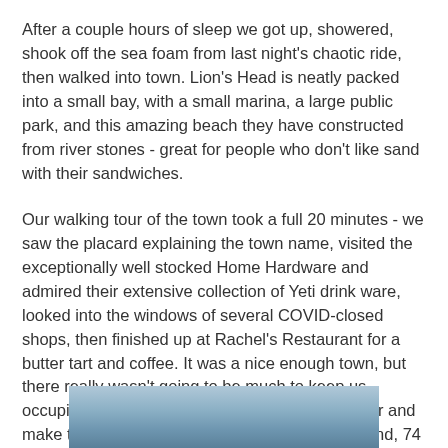After a couple hours of sleep we got up, showered, shook off the sea foam from last night’s chaotic ride, then walked into town. Lion’s Head is neatly packed into a small bay, with a small marina, a large public park, and this amazing beach they have constructed from river stones - great for people who don’t like sand with their sandwiches.
Our walking tour of the town took a full 20 minutes - we saw the placard explaining the town name, visited the exceptionally well stocked Home Hardware and admired their extensive collection of Yeti drink ware, looked into the windows of several COVID-closed shops, then finished up at Rachel’s Restaurant for a butter tart and coffee. It was a nice enough town, but there really wasn’t going to be much to keep us occupied, so we decided to get back on the water and make the final big run of the trip to Heywood Island, 74 miles north across Georgian Bay, across calmer waters. I checked the weather forecast and it looked good for today so we didn’t want to miss our chance.
[Figure (photo): Partial view of a sky and water scene, likely Georgian Bay or similar body of water, showing blue-grey sky and water tones.]